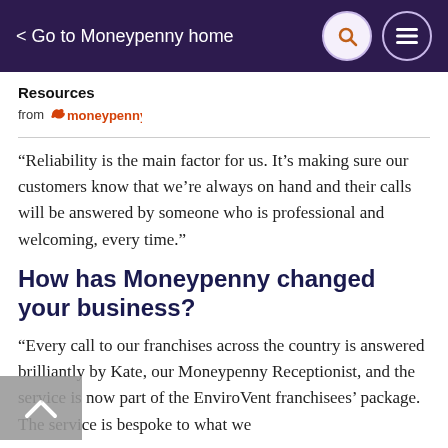< Go to Moneypenny home
[Figure (logo): Resources from Moneypenny logo block with bold 'Resources' text and Moneypenny logo in orange/red]
“Reliability is the main factor for us. It’s making sure our customers know that we’re always on hand and their calls will be answered by someone who is professional and welcoming, every time.”
How has Moneypenny changed your business?
“Every call to our franchises across the country is answered brilliantly by Kate, our Moneypenny Receptionist, and the service is now part of the EnviroVent franchisees’ package. The service is bespoke to what we